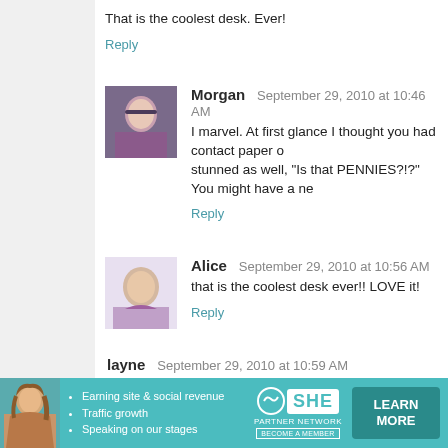That is the coolest desk. Ever!
Reply
Morgan  September 29, 2010 at 10:46 AM
I marvel. At first glance I thought you had contact paper on stunned as well, "Is that PENNIES?!?" You might have a ne
Reply
[Figure (photo): Avatar photo of Morgan]
Alice  September 29, 2010 at 10:56 AM
that is the coolest desk ever!! LOVE it!
Reply
[Figure (photo): Avatar photo of Alice]
layne  September 29, 2010 at 10:59 AM
THUNK! OW! That was the sound of my jaw hitting the des
Reply
Marcy W  September 29, 2010 at 11:05 AM
[Figure (infographic): SHE Partner Network advertisement banner with woman photo, bullet points about earning site & social revenue, traffic growth, speaking on our stages, SHE logo, and Learn More button]